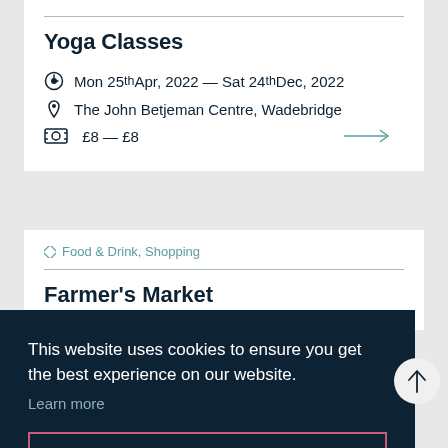Yoga Classes
Mon 25th Apr, 2022 — Sat 24th Dec, 2022
The John Betjeman Centre, Wadebridge
£8 — £8
Food & Drink, Shopping
Farmer's Market
This website uses cookies to ensure you get the best experience on our website.
Learn more
Got it!